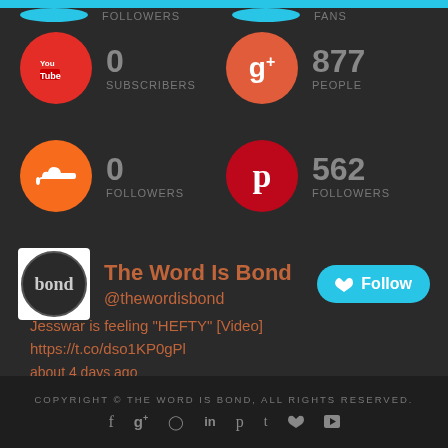[Figure (infographic): Social media stats widget showing YouTube (0 subscribers), Google+ (877 people), SoundCloud (0 followers), Pinterest (562 followers)]
[Figure (infographic): Twitter profile card for The Word Is Bond (@thewordisbond) with Follow button and recent tweet: Jesswar is feeling HEFTY [Video] https://t.co/dso1KP0gPl about 4 days ago]
COPYRIGHT © THE WORD IS BOND, ALL RIGHTS RESERVED.